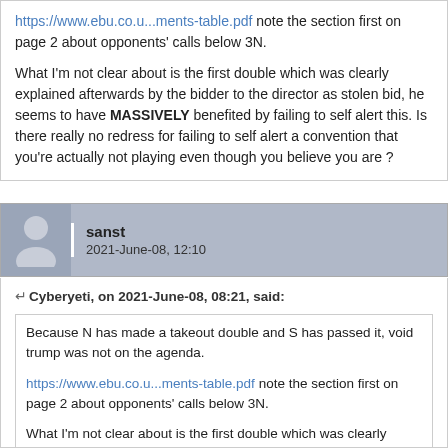https://www.ebu.co.u...ments-table.pdf note the section first on page 2 about opponents' calls below 3N.
What I'm not clear about is the first double which was clearly explained afterwards by the bidder to the director as stolen bid, he seems to have MASSIVELY benefited by failing to self alert this. Is there really no redress for failing to self alert a convention that you're actually not playing even though you believe you are ?
sanst
2021-June-08, 12:10
Cyberyeti, on 2021-June-08, 08:21, said:
Because N has made a takeout double and S has passed it, void trump was not on the agenda.

https://www.ebu.co.u...ments-table.pdf note the section first on page 2 about opponents' calls below 3N.

What I'm not clear about is the first double which was clearly explained afterwards by the bidder to the director as stolen bid, he seems to have